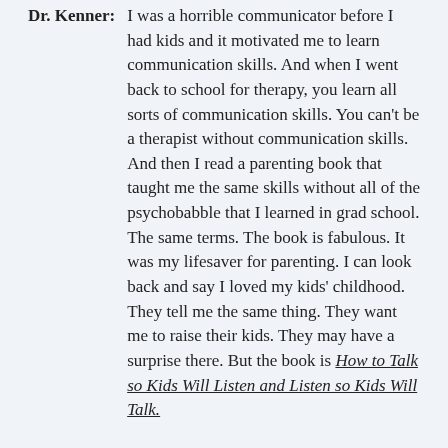Dr. Kenner:    I was a horrible communicator before I had kids and it motivated me to learn communication skills. And when I went back to school for therapy, you learn all sorts of communication skills. You can't be a therapist without communication skills. And then I read a parenting book that taught me the same skills without all of the psychobabble that I learned in grad school. The same terms. The book is fabulous. It was my lifesaver for parenting. I can look back and say I loved my kids' childhood. They tell me the same thing. They want me to raise their kids. They may have a surprise there. But the book is How to Talk so Kids Will Listen and Listen so Kids Will Talk.
Tom:    Do you have an author?
Dr. Kenner:    You can go to my website, DrKenner.com, and the authors are Adele Faber and Elaine Mazlish. Fabulous book. You can get it on tape, on CD, or at a bookstore.